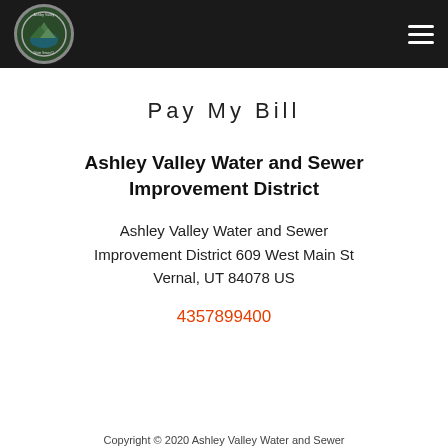[Figure (logo): Ashley Valley Water and Sewer circular logo with nature/mountain imagery and text around the border]
Pay My Bill
Ashley Valley Water and Sewer Improvement District
Ashley Valley Water and Sewer Improvement District 609 West Main St Vernal, UT 84078 US
4357899400
Copyright © 2020 Ashley Valley Water and Sewer